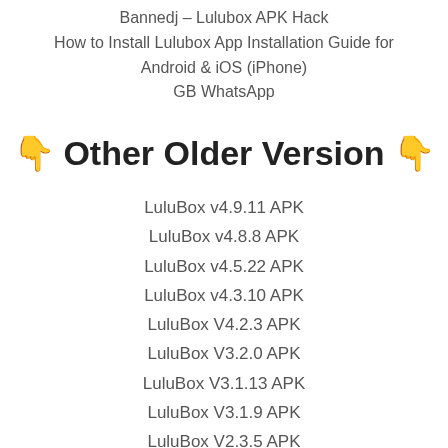Bannedj – Lulubox APK Hack
How to Install Lulubox App Installation Guide for Android & iOS (iPhone)
GB WhatsApp
👇 Other Older Version 👇
LuluBox v4.9.11 APK
LuluBox v4.8.8 APK
LuluBox v4.5.22 APK
LuluBox v4.3.10 APK
LuluBox V4.2.3 APK
LuluBox V3.2.0 APK
LuluBox V3.1.13 APK
LuluBox V3.1.9 APK
LuluBox V2.3.5 APK
LuluBox V2.3.1 APK
LuluBox V2.2.7 APK